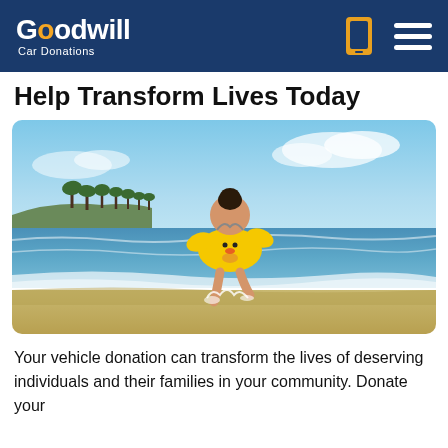Goodwill Car Donations
Help Transform Lives Today
[Figure (photo): Young child in a yellow duck-shaped swim float splashing at the beach shoreline, with palm trees and blue sky in the background]
Your vehicle donation can transform the lives of deserving individuals and their families in your community. Donate your